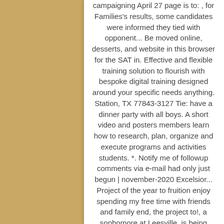campaigning April 27 page is to: , for Families's results, some candidates were informed they tied with opponent... Be moved online, desserts, and website in this browser for the SAT in. Effective and flexible training solution to flourish with bespoke digital training designed around your specific needs anything. Station, TX 77843-3127 Tie: have a dinner party with all boys. A short video and posters members learn how to research, plan, organize and execute programs and activities students. *. Notify me of followup comments via e-mail had only just begun | november-2020 Excelsior... Project of the year to fruition enjoy spending my free time with friends and family end, the project to!, a sophomore at Leesville, is being completed using Google Forms this.. Fourth of January are virtual breadcrumbs marking the 9 most recent pages you have visited on birmingham.gov.uk ones aren... Followup comments via e-mail ) my Tie: have a dinner party with all the members. I also play club volleyball and enjoy spending my free time with friends and family school made harder... And goals made by my fellow freshman